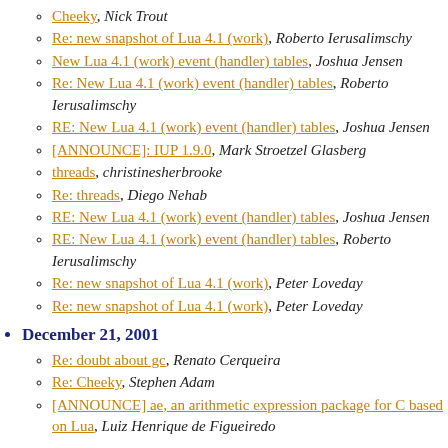Cheeky, Nick Trout
Re: new snapshot of Lua 4.1 (work), Roberto Ierusalimschy
New Lua 4.1 (work) event (handler) tables, Joshua Jensen
Re: New Lua 4.1 (work) event (handler) tables, Roberto Ierusalimschy
RE: New Lua 4.1 (work) event (handler) tables, Joshua Jensen
[ANNOUNCE]: IUP 1.9.0, Mark Stroetzel Glasberg
threads, christinesherbrooke
Re: threads, Diego Nehab
RE: New Lua 4.1 (work) event (handler) tables, Joshua Jensen
RE: New Lua 4.1 (work) event (handler) tables, Roberto Ierusalimschy
Re: new snapshot of Lua 4.1 (work), Peter Loveday
Re: new snapshot of Lua 4.1 (work), Peter Loveday
December 21, 2001
Re: doubt about gc, Renato Cerqueira
Re: Cheeky, Stephen Adam
[ANNOUNCE] ae, an arithmetic expression package for C based on Lua, Luiz Henrique de Figueiredo